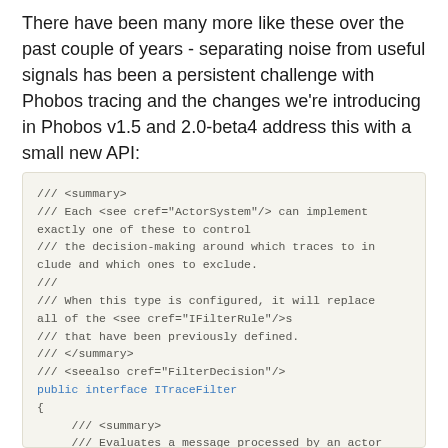There have been many more like these over the past couple of years - separating noise from useful signals has been a persistent challenge with Phobos tracing and the changes we're introducing in Phobos v1.5 and 2.0-beta4 address this with a small new API:
[Figure (screenshot): Code block showing C# XML documentation comments and interface declaration for ITraceFilter, including summary comments about ActorSystem, IFilterRule, FilterDecision, and a public interface declaration with a nested summary about evaluating messages processed by an actor.]